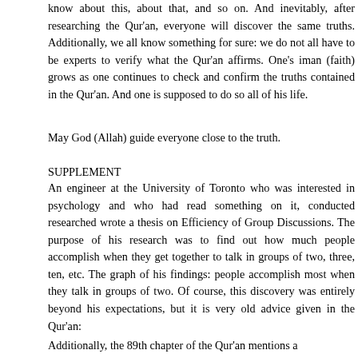know about this, about that, and so on. And inevitably, after researching the Qur'an, everyone will discover the same truths. Additionally, we all know something for sure: we do not all have to be experts to verify what the Qur'an affirms. One's iman (faith) grows as one continues to check and confirm the truths contained in the Qur'an. And one is supposed to do so all of his life.
May God (Allah) guide everyone close to the truth.
SUPPLEMENT
An engineer at the University of Toronto who was interested in psychology and who had read something on it, conducted researched wrote a thesis on Efficiency of Group Discussions. The purpose of his research was to find out how much people accomplish when they get together to talk in groups of two, three, ten, etc. The graph of his findings: people accomplish most when they talk in groups of two. Of course, this discovery was entirely beyond his expectations, but it is very old advice given in the Qur'an:
Additionally, the 89th chapter of the Qur'an mentions a